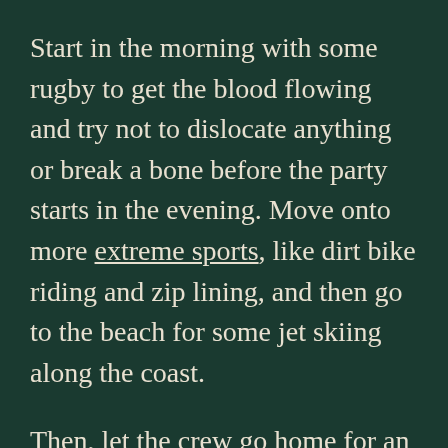Start in the morning with some rugby to get the blood flowing and try not to dislocate anything or break a bone before the party starts in the evening. Move onto more extreme sports, like dirt bike riding and zip lining, and then go to the beach for some jet skiing along the coast.
Then, let the crew go home for an hour to get dressed and ready for the night of their life, and pick them all up in a limo that will take you to the first destination of the night. Start the night off with some poker and whisky and lead it into a private club where